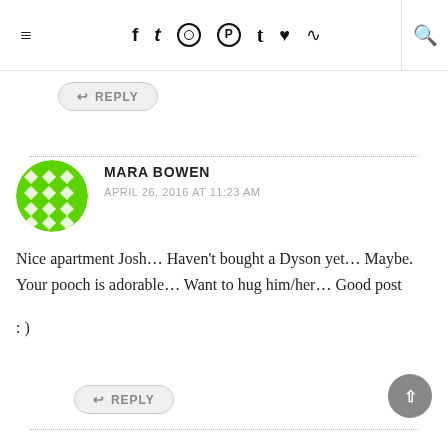≡  f  t  (instagram)  (pinterest)  t  (heart)  (rss)  (search)
↩ REPLY
MARA BOWEN
APRIL 26, 2016 AT 11:23 AM
Nice apartment Josh… Haven't bought a Dyson yet… Maybe. Your pooch is adorable… Want to hug him/her… Good post

: )
↩ REPLY